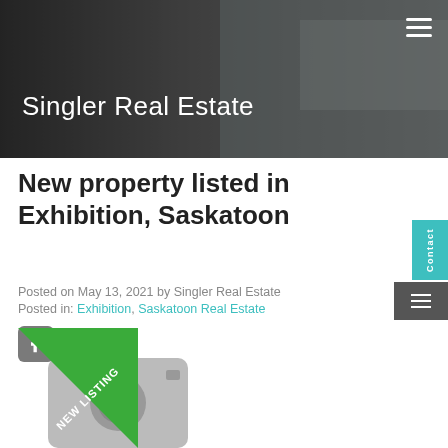Singler Real Estate
New property listed in Exhibition, Saskatoon
Posted on May 13, 2021 by Singler Real Estate
Posted in: Exhibition, Saskatoon Real Estate
[Figure (photo): Camera placeholder icon with NEW LISTING green ribbon banner overlay]
[Figure (screenshot): Teal contact/menu sidebar tab on right edge]